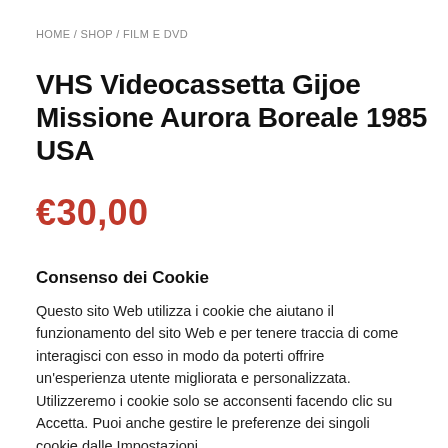HOME / SHOP / FILM E DVD
VHS Videocassetta Gijoe Missione Aurora Boreale 1985 USA
€30,00
Consenso dei Cookie
Questo sito Web utilizza i cookie che aiutano il funzionamento del sito Web e per tenere traccia di come interagisci con esso in modo da poterti offrire un'esperienza utente migliorata e personalizzata. Utilizzeremo i cookie solo se acconsenti facendo clic su Accetta. Puoi anche gestire le preferenze dei singoli cookie dalle Impostazioni.
Preferenze | Accettare tutto